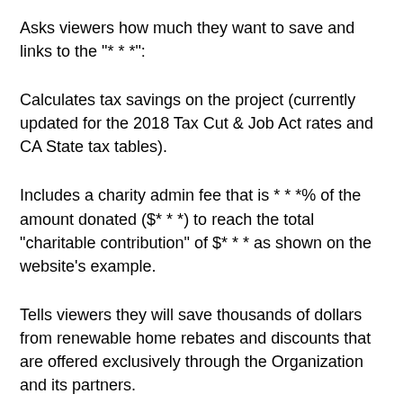Asks viewers how much they want to save and links to the "* * *":
Calculates tax savings on the project (currently updated for the 2018 Tax Cut & Job Act rates and CA State tax tables).
Includes a charity admin fee that is * * *% of the amount donated ($* * *) to reach the total "charitable contribution" of $* * * as shown on the website's example.
Tells viewers they will save thousands of dollars from renewable home rebates and discounts that are offered exclusively through the Organization and its partners.